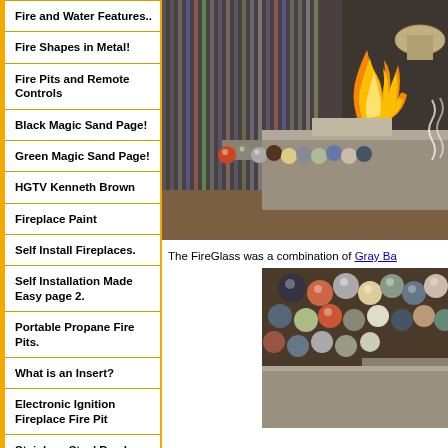Fire and Water Features..
Fire Shapes in Metal!
Fire Pits and Remote Controls
Black Magic Sand Page!
Green Magic Sand Page!
HGTV Kenneth Brown
Fireplace Paint
Self Install Fireplaces.
Self Installation Made Easy page 2.
Portable Propane Fire Pits.
What is an Insert?
Electronic Ignition Fireplace Fire Pit
Stainless Steel Bowls
[Figure (photo): Indoor fire pit display with metallic rectangular fire pit, fire flame visible, decorative glass balls along the edge, and product displays in background]
The FireGlass was a combination of Gray Ba
[Figure (photo): Close-up of decorative glass balls/spheres in various colors alongside a metallic fire pit surface]